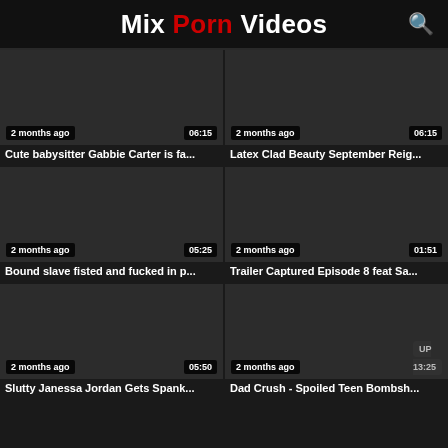Mix Porn Videos
[Figure (screenshot): Video thumbnail dark, 2 months ago, 06:15]
Cute babysitter Gabbie Carter is fa...
[Figure (screenshot): Video thumbnail dark, 2 months ago, 06:15]
Latex Clad Beauty September Reig...
[Figure (screenshot): Video thumbnail dark, 2 months ago, 05:25]
Bound slave fisted and fucked in p...
[Figure (screenshot): Video thumbnail dark, 2 months ago, 01:51]
Trailer Captured Episode 8 feat Sa...
[Figure (screenshot): Video thumbnail dark, 2 months ago, 05:50]
Slutty Janessa Jordan Gets Spank...
[Figure (screenshot): Video thumbnail dark, 2 months ago, UP 13:25]
Dad Crush - Spoiled Teen Bombsh...